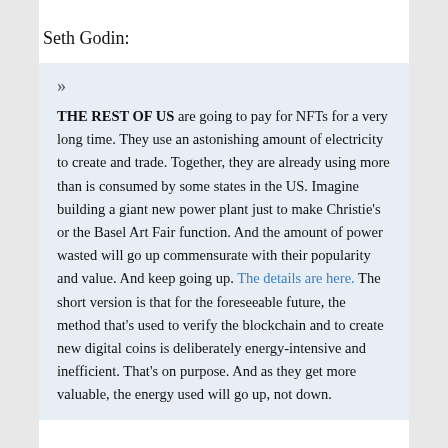Seth Godin:
» THE REST OF US are going to pay for NFTs for a very long time. They use an astonishing amount of electricity to create and trade. Together, they are already using more than is consumed by some states in the US. Imagine building a giant new power plant just to make Christie's or the Basel Art Fair function. And the amount of power wasted will go up commensurate with their popularity and value. And keep going up. The details are here. The short version is that for the foreseeable future, the method that's used to verify the blockchain and to create new digital coins is deliberately energy-intensive and inefficient. That's on purpose. And as they get more valuable, the energy used will go up, not down.